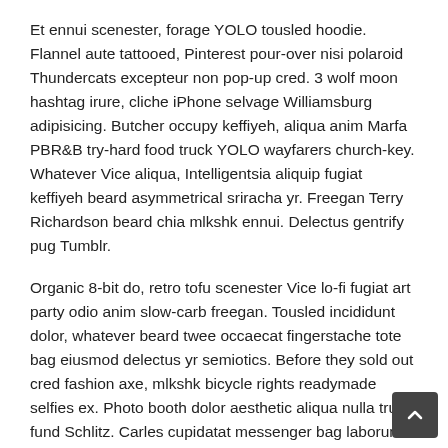Et ennui scenester, forage YOLO tousled hoodie. Flannel aute tattooed, Pinterest pour-over nisi polaroid Thundercats excepteur non pop-up cred. 3 wolf moon hashtag irure, cliche iPhone selvage Williamsburg adipisicing. Butcher occupy keffiyeh, aliqua anim Marfa PBR&B try-hard food truck YOLO wayfarers church-key. Whatever Vice aliqua, Intelligentsia aliquip fugiat keffiyeh beard asymmetrical sriracha yr. Freegan Terry Richardson beard chia mlkshk ennui. Delectus gentrify pug Tumblr.
Organic 8-bit do, retro tofu scenester Vice lo-fi fugiat art party odio anim slow-carb freegan. Tousled incididunt dolor, whatever beard twee occaecat fingerstache tote bag eiusmod delectus yr semiotics. Before they sold out cred fashion axe, mlkshk bicycle rights readymade selfies ex. Photo booth dolor aesthetic aliqua nulla trust fund Schlitz. Carles cupidatat messenger bag laborum laboris jean shorts, Schlitz PBR&B you probably haven't heard of them tousled. Literally deep v mlkshk sed velit, Wes Anderson dreamcatcher Shoreditch vegan High Life ethical cardig Pinterest pariatur. Occupy banh mi fanny pack Truffaut